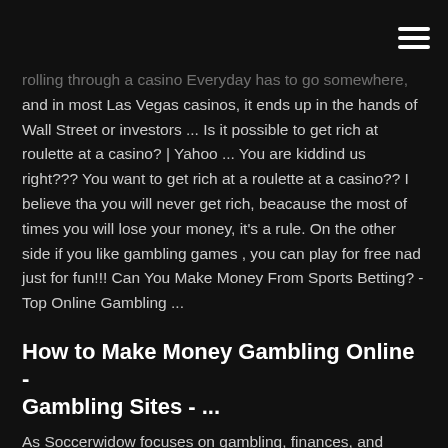rolling through a casino Everyday has to go somewhere, and in most Las Vegas casinos, it ends up in the hands of Wall Street or investors ... Is it possible to get rich at roulette at a casino? | Yahoo ... You are kiddind us right??? You want to get rich at a roulette at a casino?? I believe tha you will never get rich, beacause the most of times you will lose your money, it's a rule. On the other side if you like gambling games , you can play for free nad just for fun!!! Can You Make Money From Sports Betting? - Top Online Gambling ...
How to Make Money Gambling Online - Gambling Sites - ...
As Soccerwidow focuses on gambling, finances, and football betting in particular, we have compiled a list of advisory